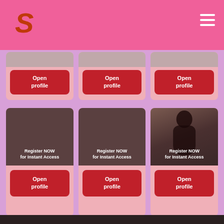S — navigation bar with hamburger menu
[Figure (screenshot): Row of 3 partially visible profile cards from top, each with pink background and a red 'Open profile' button]
[Figure (screenshot): Row of 3 profile cards: two with dark brown background overlaid with 'Register NOW for Instant Access' text, one with a photo of a woman overlaid with same text, each with red 'Open profile' button below]
Dark footer strip at bottom of page